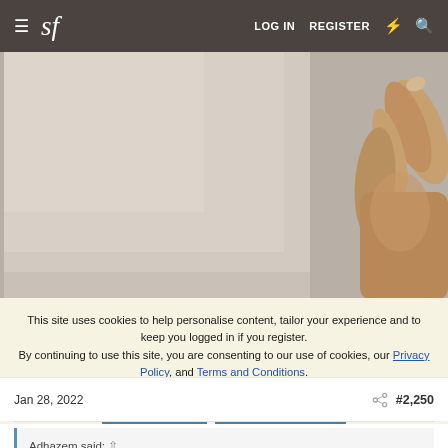sf  LOG IN  REGISTER
[Figure (photo): Close-up photo of a hand/fingers against a light beige/cream surface, taken at an angle. The background is plain and light-colored.]
This site uses cookies to help personalise content, tailor your experience and to keep you logged in if you register.
By continuing to use this site, you are consenting to our use of cookies, our Privacy Policy, and Terms and Conditions.
✓ ACCEPT    LEARN MORE...
Jan 28, 2022    #2,250
Adhazem said: ↑